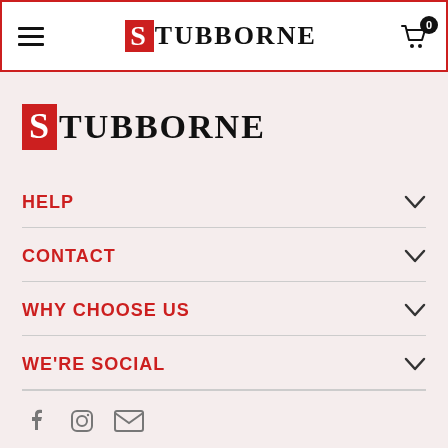STUBBORNE - navigation header with hamburger menu, logo, and cart icon
[Figure (logo): STUBBORNE brand logo with red S box and serif uppercase text]
HELP
CONTACT
WHY CHOOSE US
WE'RE SOCIAL
[Figure (infographic): Social media icons: Facebook, Instagram, Email]